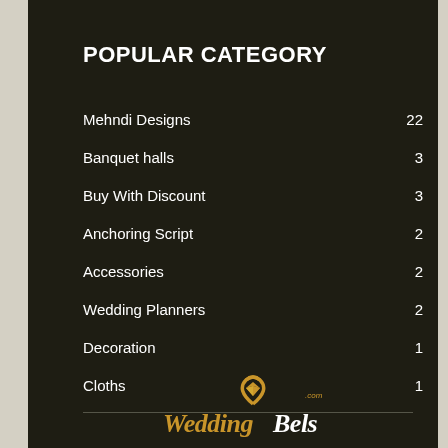POPULAR CATEGORY
Mehndi Designs 22
Banquet halls 3
Buy With Discount 3
Anchoring Script 2
Accessories 2
Wedding Planners 2
Decoration 1
Cloths 1
[Figure (logo): WeddingBels.com logo in gold color with a ring/diamond icon above the text]